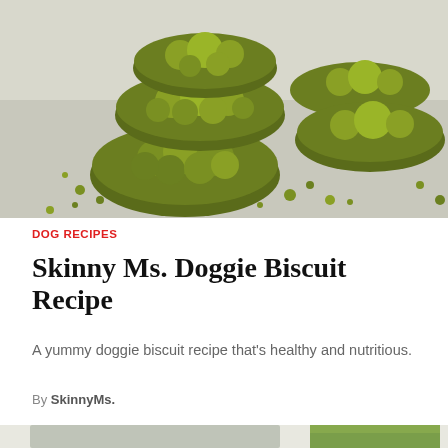[Figure (photo): Stack of green matcha or spinach-colored dog biscuit cookies on a white surface with green crumbs scattered around]
DOG RECIPES
Skinny Ms. Doggie Biscuit Recipe
A yummy doggie biscuit recipe that's healthy and nutritious.
By SkinnyMs.
[Figure (photo): Two glasses of green smoothie, one tall and one shorter with a straw, on a light grey background]